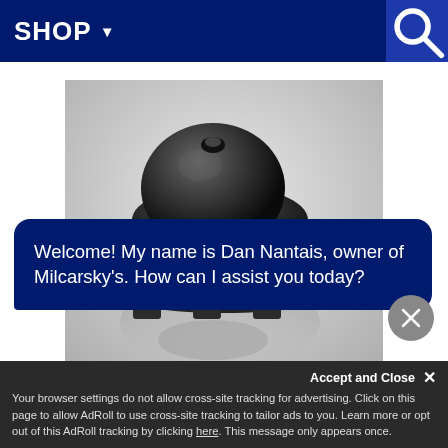SHOP ▾
[Figure (photo): Black and white photo of a refrigeration compressor unit on a reflective surface]
Welcome! My name is Dan Nantais, owner of Milcarsky's. How can I assist you today?
Accept and Close ✕
Your browser settings do not allow cross-site tracking for advertising. Click on this page to allow AdRoll to use cross-site tracking to tailor ads to you. Learn more or opt out of this AdRoll tracking by clicking here. This message only appears once.